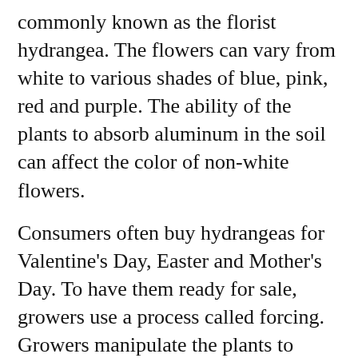commonly known as the florist hydrangea. The flowers can vary from white to various shades of blue, pink, red and purple. The ability of the plants to absorb aluminum in the soil can affect the color of non-white flowers.
Consumers often buy hydrangeas for Valentine's Day, Easter and Mother's Day. To have them ready for sale, growers use a process called forcing. Growers manipulate the plants to obtain blooms within a marketing window by controlling their growth with different treatments, including leaf shed, or defoliation, cold storage and forcing in the greenhouse.
Bi's goals were to develop methods to promote defoliation without affecting nutrient storage and to identify a fertilization program that reduces excessive vegetative growth, allows plants to use nitrogen efficiently and improves flowering performance. She consulted with several greenhouse operators on the project.